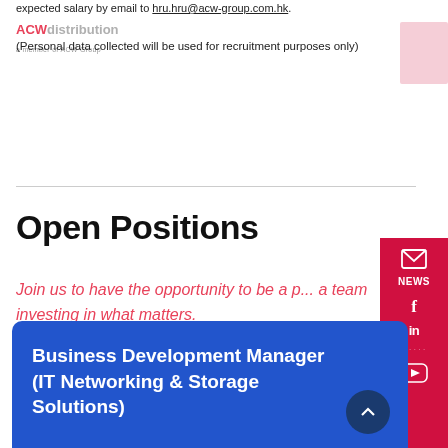expected salary by email to hru.hru@acw-group.com.hk.
[Figure (logo): ACW distribution logo with 'a member of ACW Group' tagline]
(Personal data collected will be used for recruitment purposes only)
Open Positions
Join us to have the opportunity to be a part of a team investing in what matters.
[Figure (infographic): Red sidebar with social media icons: envelope/NEWS, Facebook, LinkedIn, dots, YouTube]
Business Development Manager (IT Networking & Storage Solutions)